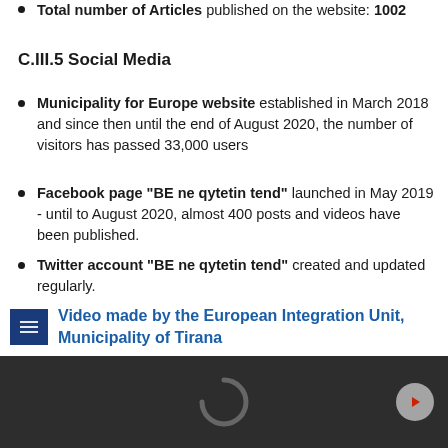Total number of Articles published on the website: 1002
C.III.5 Social Media
Municipality for Europe website established in March 2018 and since then until the end of August 2020, the number of visitors has passed 33,000 users
Facebook page "BE ne qytetin tend" launched in May 2019 - until to August 2020, almost 400 posts and videos have been published.
Twitter account "BE ne qytetin tend" created and updated regularly.
Video made by the European Integration Unit, Municipality of Tirana
[Figure (screenshot): Video player loading screen with dark background, spinner icon, and next arrow button]